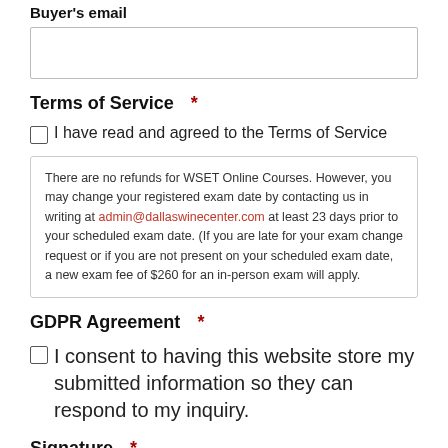Buyer's email
[input field]
Terms of Service *
I have read and agreed to the Terms of Service
There are no refunds for WSET Online Courses. However, you may change your registered exam date by contacting us in writing at admin@dallaswinecenter.com at least 23 days prior to your scheduled exam date. (If you are late for your exam change request or if you are not present on your scheduled exam date, a new exam fee of $260 for an in-person exam will apply.
GDPR Agreement *
I consent to having this website store my submitted information so they can respond to my inquiry.
Signature *
[signature field]